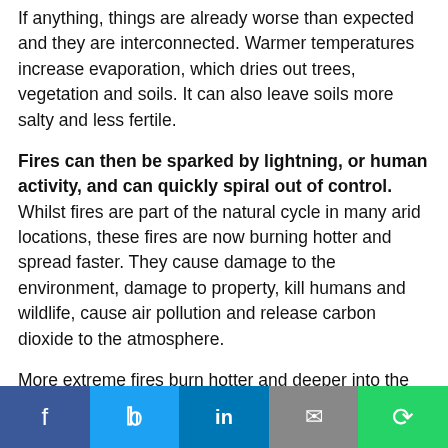If anything, things are already worse than expected and they are interconnected. Warmer temperatures increase evaporation, which dries out trees, vegetation and soils. It can also leave soils more salty and less fertile.
Fires can then be sparked by lightning, or human activity, and can quickly spiral out of control. Whilst fires are part of the natural cycle in many arid locations, these fires are now burning hotter and spread faster. They cause damage to the environment, damage to property, kill humans and wildlife, cause air pollution and release carbon dioxide to the atmosphere.
More extreme fires burn hotter and deeper into the soil killing off many seeds. They leave bare
f  t  in  ✉  ⊕